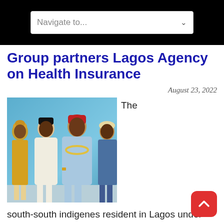Navigate to...
Group partners Lagos Agency on Health Insurance
August 23, 2022
[Figure (photo): Four people posing together indoors, one woman in yellow dress and head wrap, a man in white agbada, a man in light blue agbada with red cap and beaded necklace, and a man in blue shirt, with a blue wall in the background.]
The south-south indigenes resident in Lagos under the auspices of CREDAB have been urged to take more...